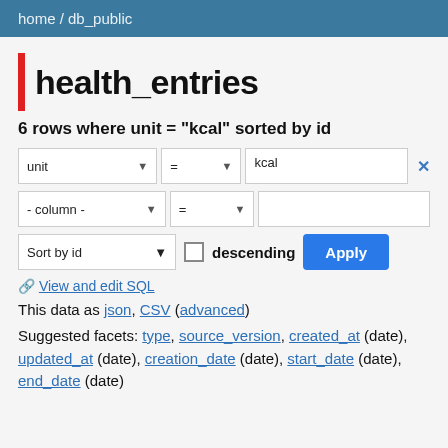home / db_public
health_entries
6 rows where unit = "kcal" sorted by id
unit = kcal [x]
- column - =
Sort by id  descending  Apply
🔗 View and edit SQL
This data as json, CSV (advanced)
Suggested facets: type, source_version, created_at (date), updated_at (date), creation_date (date), start_date (date), end_date (date)